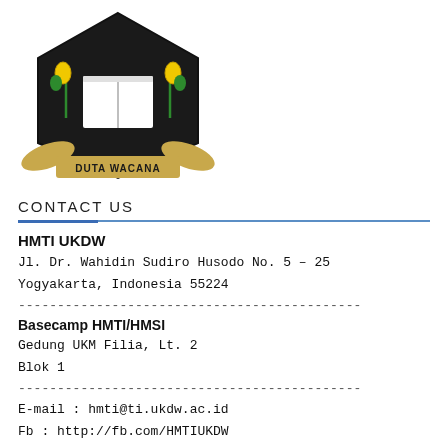[Figure (logo): Duta Wacana university logo: hexagonal black badge with book, plants, and wings, with 'DUTA WACANA' text on a banner below]
CONTACT US
HMTI UKDW
Jl. Dr. Wahidin Sudiro Husodo No. 5 – 25
Yogyakarta, Indonesia 55224
--------------------------------------------
Basecamp HMTI/HMSI
Gedung UKM Filia, Lt. 2
Blok 1
--------------------------------------------
E-mail : hmti@ti.ukdw.ac.id
Fb : http://fb.com/HMTIUKDW
Twitter : @HMTIUKDW